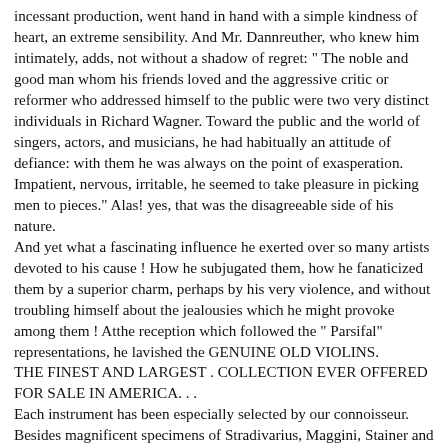incessant production, went hand in hand with a simple kindness of heart, an extreme sensibility. And Mr. Dannreuther, who knew him intimately, adds, not without a shadow of regret: " The noble and good man whom his friends loved and the aggressive critic or reformer who addressed himself to the public were two very distinct individuals in Richard Wagner. Toward the public and the world of singers, actors, and musicians, he had habitually an attitude of defiance: with them he was always on the point of exasperation. Impatient, nervous, irritable, he seemed to take pleasure in picking men to pieces." Alas! yes, that was the disagreeable side of his nature.
And yet what a fascinating influence he exerted over so many artists devoted to his cause ! How he subjugated them, how he fanaticized them by a superior charm, perhaps by his very violence, and without troubling himself about the jealousies which he might provoke among them ! Atthe reception which followed the " Parsifal" representations, he lavished the GENUINE OLD VIOLINS.
THE FINEST AND LARGEST . COLLECTION EVER OFFERED FOR SALE IN AMERICA. . .
Each instrument has been especially selected by our connoisseur. Besides magnificent specimens of Stradivarius, Maggini, Stainer and other famous makers, this assortment